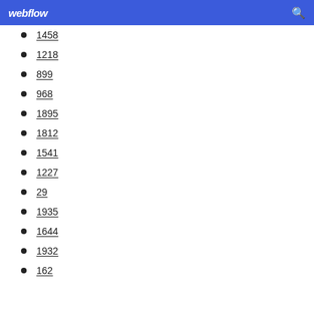webflow
1458
1218
899
968
1895
1812
1541
1227
29
1935
1644
1932
162